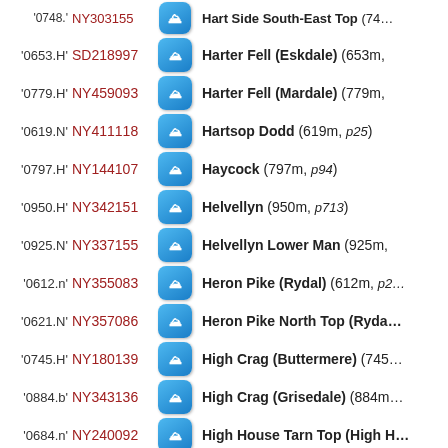'0748.' NY303155 Hart Side South-East Top (7...)
'0653.H' SD218997 Harter Fell (Eskdale) (653m,
'0779.H' NY459093 Harter Fell (Mardale) (779m,
'0619.N' NY411118 Hartsop Dodd (619m, p25)
'0797.H' NY144107 Haycock (797m, p94)
'0950.H' NY342151 Helvellyn (950m, p713)
'0925.N' NY337155 Helvellyn Lower Man (925m,
'0612.n' NY355083 Heron Pike (Rydal) (612m, p2
'0621.N' NY357086 Heron Pike North Top (Ryda
'0745.H' NY180139 High Crag (Buttermere) (745
'0884.b' NY343136 High Crag (Grisedale) (884m
'0684.n' NY240092 High House Tarn Top (High H
'0658.H' NY318350 High Pike (Caldbeck) (658m
'0358.' NY374300 High Pike (Scandale) (358m